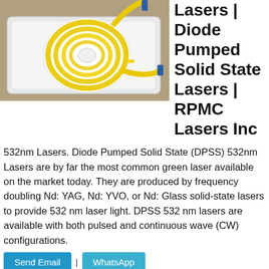[Figure (photo): Photo of a fiber-coupled laser module with yellow fiber cable coiled on a white rectangular tray, placed on a reflective surface. A blue connector is visible at one end.]
Lasers | Diode Pumped Solid State Lasers | RPMC Lasers Inc
532nm Lasers. Diode Pumped Solid State (DPSS) 532nm Lasers are by far the most common green laser available on the market today. They are produced by frequency doubling Nd: YAG, Nd: YVO, or Nd: Glass solid-state lasers to provide 532 nm laser light. DPSS 532 nm lasers are available with both pulsed and continuous wave (CW) configurations.
Send Email
WhatsApp
Send Email
Whatsapp